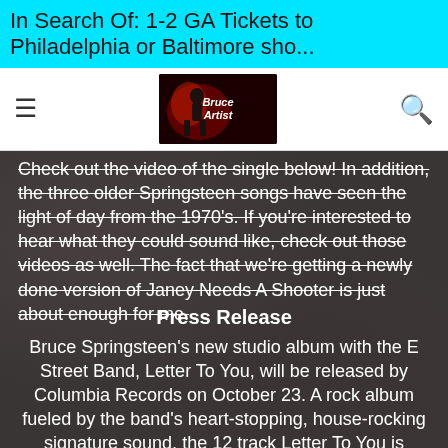In Search Of: 1-2 GA Tickets to Philadelphia or Baltimore sho...
[Figure (logo): Bruce Springsteen fan site logo with dark red/black background]
Check out the video of the single below! In addition, the three older Springsteen songs have seen the light of day from the 1970's. If you're interested to hear what they could sound like, check out those videos as well. The fact that we're getting a newly done version of Janey Needs A Shooter is just about enough for me.
Press Release
Bruce Springsteen's new studio album with the E Street Band, Letter To You, will be released by Columbia Records on October 23. A rock album fueled by the band's heart-stopping, house-rocking signature sound, the 12 track Letter To You is Springsteen's 20th studio album, and was recorded at his home studio in New